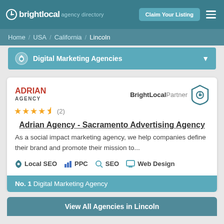brightlocal agency directory
Home / USA / California / Lincoln
Digital Marketing Agencies
Adrian Agency - Sacramento Advertising Agency
As a social impact marketing agency, we help companies define their brand and promote their mission to...
Local SEO  PPC  SEO  Web Design
No. 1 Digital Marketing Agency
View All Agencies in Lincoln